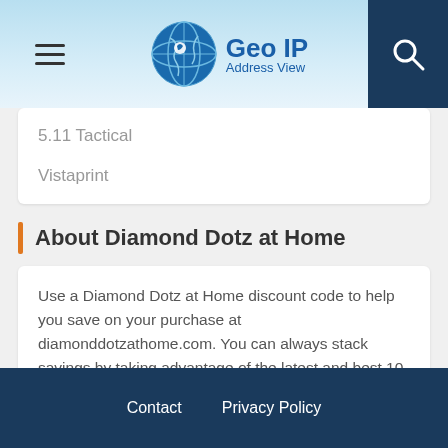Geo IP Address View
5.11 Tactical
Vistaprint
About Diamond Dotz at Home
Use a Diamond Dotz at Home discount code to help you save on your purchase at diamonddotzathome.com. You can always stack savings by taking advantage of the latest and best 10 Diamond Dotz at Home coupons and offers to save the most money on your order. Promotional codes which are
Contact   Privacy Policy